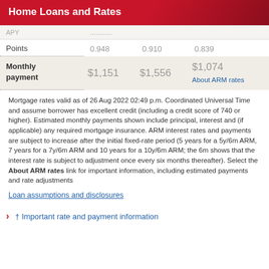Home Loans and Rates
|  |  |  |  |
| --- | --- | --- | --- |
| APY | ........... |  |  |
| Points | 0.948 | 0.910 | 0.839 |
| Monthly payment | $1,151 | $1,556 | $1,074 About ARM rates |
Mortgage rates valid as of 26 Aug 2022 02:49 p.m. Coordinated Universal Time and assume borrower has excellent credit (including a credit score of 740 or higher). Estimated monthly payments shown include principal, interest and (if applicable) any required mortgage insurance. ARM interest rates and payments are subject to increase after the initial fixed-rate period (5 years for a 5y/6m ARM, 7 years for a 7y/6m ARM and 10 years for a 10y/6m ARM; the 6m shows that the interest rate is subject to adjustment once every six months thereafter). Select the About ARM rates link for important information, including estimated payments and rate adjustments
Loan assumptions and disclosures
† Important rate and payment information